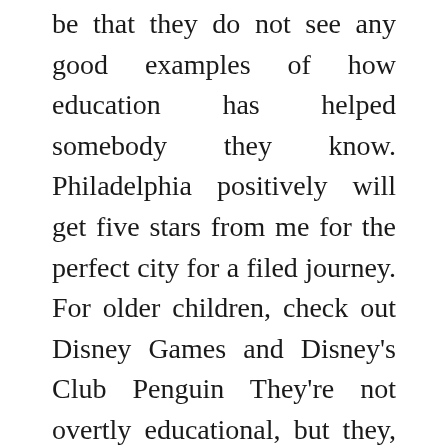be that they do not see any good examples of how education has helped somebody they know. Philadelphia positively will get five stars from me for the perfect city for a filed journey. For older children, check out Disney Games and Disney's Club Penguin They're not overtly educational, but they, too, are fun, quality video games. All you posters may simply get collectively and write a guide explaining what's mistaken with education.
Although important thinking is a objective of education, criticism and blame are sometimes the unintended by products of our present educational course of. Its results might be felt